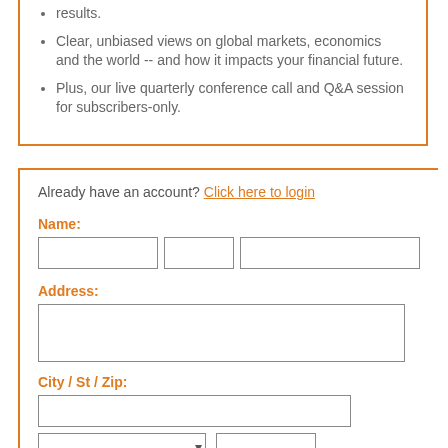results.
Clear, unbiased views on global markets, economics and the world -- and how it impacts your financial future.
Plus, our live quarterly conference call and Q&A session for subscribers-only.
Already have an account? Click here to login
Name:
Address:
City / St / Zip:
Country: